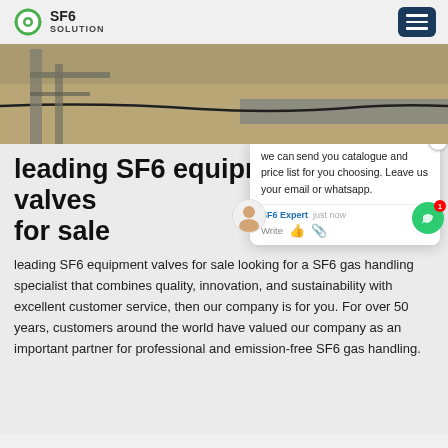SF6 SOLUTION
[Figure (photo): Outdoor ground-level photo showing cables and equipment on sandy/dry ground with structural elements in background]
leading SF6 equipment valves for sale
leading SF6 equipment valves for sale looking for a SF6 gas handling specialist that combines quality, innovation, and sustainability with excellent customer service, then our company is for you. For over 50 years, customers around the world have valued our company as an important partner for professional and emission-free SF6 gas handling.
[Figure (screenshot): Chat popup overlay: 'we can send you catalogue and price list for you choosing. Leave us your email or whatsapp.' with SF6 Expert chat interface]